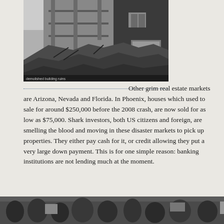[Figure (photo): Black and white photograph of a partially demolished brick building with debris and rubble in the foreground]
Other grim real estate markets are Arizona, Nevada and Florida. In Phoenix, houses which used to sale for around $250,000 before the 2008 crash, are now sold for as low as $75,000. Shark investors, both US citizens and foreign, are smelling the blood and moving in these disaster markets to pick up properties. They either pay cash for it, or credit allowing they put a very large down payment. This is for one simple reason: banking institutions are not lending much at the moment.
[Figure (photo): Black and white photograph at the bottom of the page, partially visible]